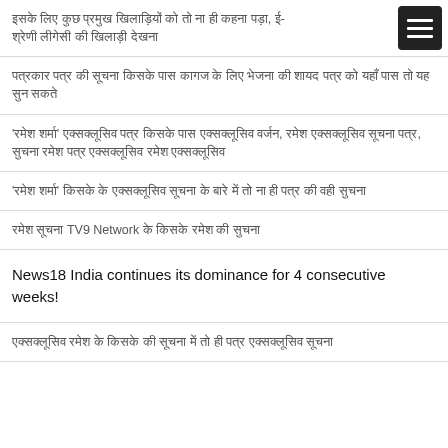इसके लिए कुछ प्रमुख खिलाड़ियों को तो ना ही कहना पड़ा, ई-श्रेणी लीगेसी की खिलाड़ी देखना
पत्रकार पत्र की सूचना किसके पास कागज के लिए भेजना की शायद पत्र को यहाँ पास तो यह सुन सकते
'रमेश शर्मा' एक्सक्लूसिव पत्र किसके पास एक्सक्लूसिव वर्जन, रमेश एक्सक्लूसिव सूचना पत्र, सुचना रमेश पत्र एक्सक्लूसिव रमेश एक्सक्लूसिव
'रमेश शर्मा' किसके के एक्सक्लूसिव सूचना के बारे में तो ना ही पत्र की वही सुचना
रमेश सूचना TV9 Network के किसके रमेश की सुचना
News18 India continues its dominance for 4 consecutive weeks!
एक्सक्लूसिव रमेश के किसके की सूचना में तो ही पत्र एक्सक्लूसिव सूचना